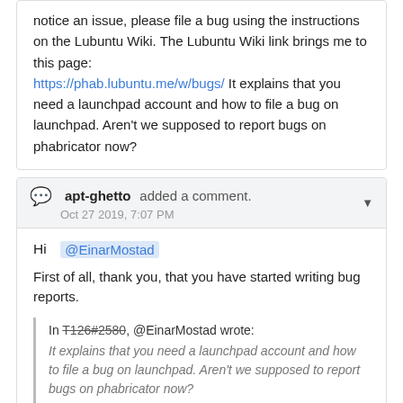notice an issue, please file a bug using the instructions on the Lubuntu Wiki. The Lubuntu Wiki link brings me to this page: https://phab.lubuntu.me/w/bugs/ It explains that you need a launchpad account and how to file a bug on launchpad. Aren't we supposed to report bugs on phabricator now?
apt-ghetto added a comment. Oct 27 2019, 7:07 PM
Hi @EinarMostad
First of all, thank you, that you have started writing bug reports.
In T126#2580, @EinarMostad wrote: It explains that you need a launchpad account and how to file a bug on launchpad. Aren't we supposed to report bugs on phabricator now?
For normal users, it is better, if they file bug reports on launchpad and link them to a Lubuntu package, so that we should see the report. Writing a bug report on launchpad has several advantages: